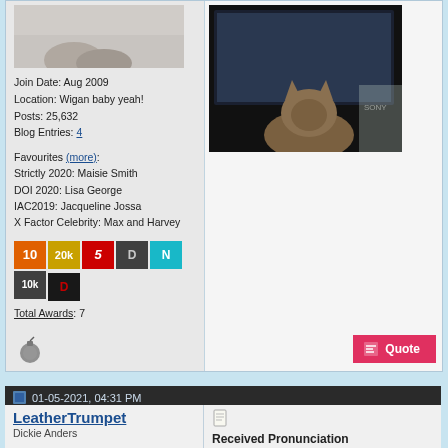[Figure (photo): Cat photo sitting in front of TV/monitor screen viewed from behind]
Join Date: Aug 2009
Location: Wigan baby yeah!
Posts: 25,632
Blog Entries: 4
Favourites (more):
Strictly 2020: Maisie Smith
DOI 2020: Lisa George
IAC2019: Jacqueline Jossa
X Factor Celebrity: Max and Harvey
[Figure (infographic): Award badges row: 10 (orange), 20k (gold), 5 (red italic), D (dark grey), N (cyan), 10k (dark), D (black/red)]
Total Awards: 7
[Figure (illustration): Grenade/bomb icon in grey]
[Figure (photo): Quote button - pink/red with pencil icon and text Quote]
01-05-2021, 04:31 PM
LeatherTrumpet
Dickie Anders
Received Pronunciation